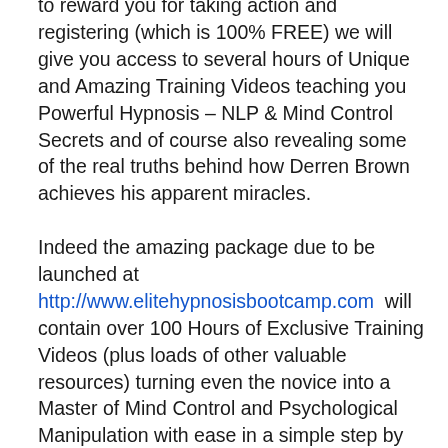to reward you for taking action and registering (which is 100% FREE) we will give you access to several hours of Unique and Amazing Training Videos teaching you Powerful Hypnosis – NLP & Mind Control Secrets and of course also revealing some of the real truths behind how Derren Brown achieves his apparent miracles.
Indeed the amazing package due to be launched at http://www.elitehypnosisbootcamp.com will contain over 100 Hours of Exclusive Training Videos (plus loads of other valuable resources) turning even the novice into a Master of Mind Control and Psychological Manipulation with ease in a simple step by step manner.
Indeed those who register now for free at http://www.elitehypnosisbootcamp.com will not only be the first to gain access to the FREE Training Videos, but also will be the first to have view other elements...